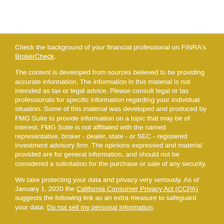Check the background of your financial professional on FINRA's BrokerCheck.
The content is developed from sources believed to be providing accurate information. The information in this material is not intended as tax or legal advice. Please consult legal or tax professionals for specific information regarding your individual situation. Some of this material was developed and produced by FMG Suite to provide information on a topic that may be of interest. FMG Suite is not affiliated with the named representative, broker - dealer, state - or SEC - registered investment advisory firm. The opinions expressed and material provided are for general information, and should not be considered a solicitation for the purchase or sale of any security.
We take protecting your data and privacy very seriously. As of January 1, 2020 the California Consumer Privacy Act (CCPA) suggests the following link as an extra measure to safeguard your data: Do not sell my personal information.